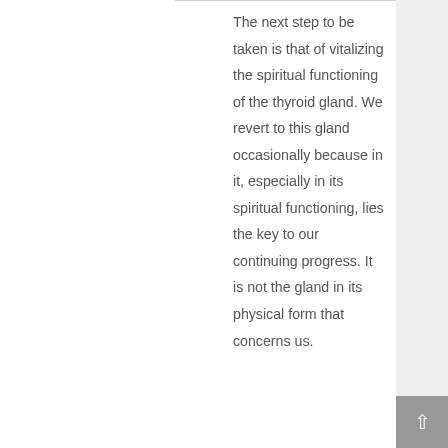The next step to be taken is that of vitalizing the spiritual functioning of the thyroid gland. We revert to this gland occasionally because in it, especially in its spiritual functioning, lies the key to our continuing progress. It is not the gland in its physical form that concerns us.
Read more ›
HolyOrderofMANS
Advanced Activity – Meditations and Spiritual Exercises Pt 2
0 Comments